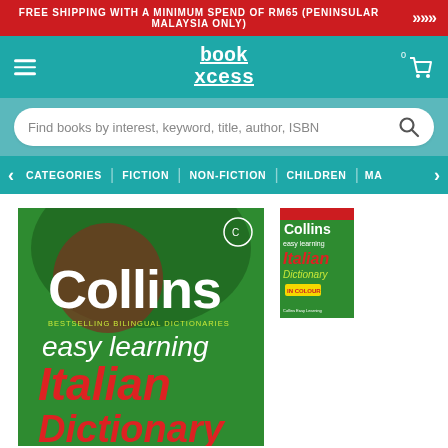FREE SHIPPING WITH A MINIMUM SPEND OF RM65 (PENINSULAR MALAYSIA ONLY)
[Figure (logo): BookXcess logo in white text on teal background with hamburger menu and cart icon]
Find books by interest, keyword, title, author, ISBN
CATEGORIES | FICTION | NON-FICTION | CHILDREN | MA
[Figure (photo): Collins Easy Learning Italian Dictionary book cover - large main image, green background with white Collins text, red italic Italian text]
[Figure (photo): Collins Easy Learning Italian Dictionary - small thumbnail version of book cover]